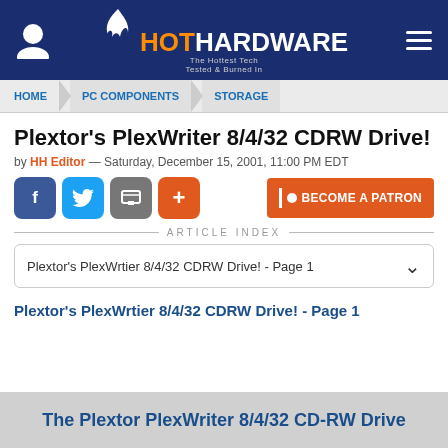[Figure (logo): HotHardware website header with logo, user icon, and hamburger menu on dark blue background]
HOME > PC COMPONENTS > STORAGE
Plextor's PlexWriter 8/4/32 CDRW Drive!
by HH Editor — Saturday, December 15, 2001, 11:00 PM EDT
[Figure (infographic): Social share buttons (Facebook, Twitter, share, plus) and BECOME A PATRON button]
ARTICLE INDEX
Plextor's PlexWrtier 8/4/32 CDRW Drive! - Page 1
Plextor's PlexWrtier 8/4/32 CDRW Drive! - Page 1
The Plextor PlexWriter 8/4/32 CD-RW Drive